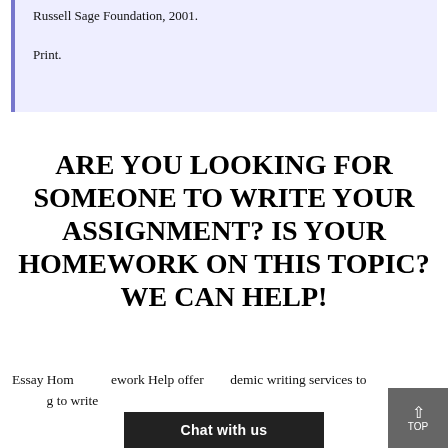Russell Sage Foundation, 2001. Print.
ARE YOU LOOKING FOR SOMEONE TO WRITE YOUR ASSIGNMENT? IS YOUR HOMEWORK ON THIS TOPIC? WE CAN HELP!
Essay Homework Help offers academic writing services to students looking to write